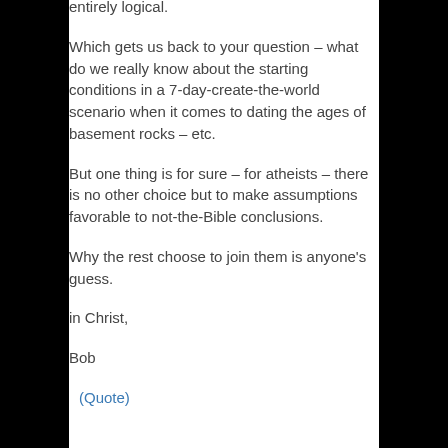entirely logical.
Which gets us back to your question – what do we really know about the starting conditions in a 7-day-create-the-world scenario when it comes to dating the ages of basement rocks – etc.
But one thing is for sure – for atheists – there is no other choice but to make assumptions favorable to not-the-Bible conclusions.
Why the rest choose to join them is anyone's guess.
in Christ,
Bob
(Quote)